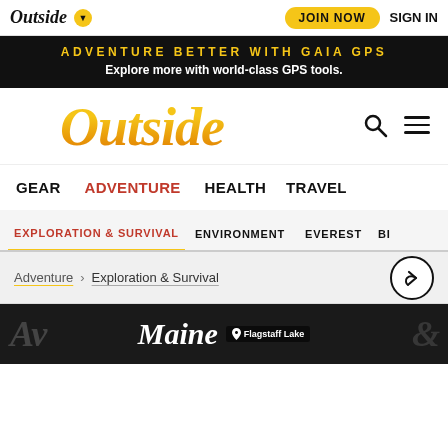Outside | JOIN NOW | SIGN IN
ADVENTURE BETTER WITH GAIA GPS — Explore more with world-class GPS tools.
Outside
GEAR | ADVENTURE | HEALTH | TRAVEL
EXPLORATION & SURVIVAL | ENVIRONMENT | EVEREST | BI...
Adventure > Exploration & Survival
[Figure (screenshot): Bottom advertisement banner showing Maine with Flagstaff Lake location tag and kayaker silhouette image]